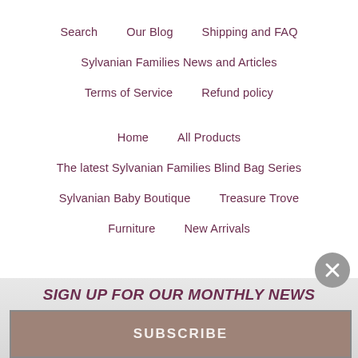Search   Our Blog   Shipping and FAQ
Sylvanian Families News and Articles
Terms of Service   Refund policy
Home   All Products
The latest Sylvanian Families Blind Bag Series
Sylvanian Baby Boutique   Treasure Trove
Furniture   New Arrivals
SIGN UP FOR OUR MONTHLY NEWS
SUBSCRIBE